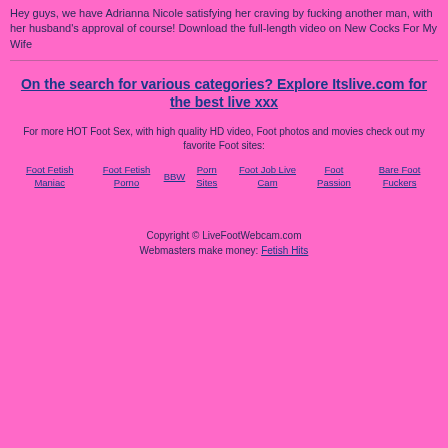Hey guys, we have Adrianna Nicole satisfying her craving by fucking another man, with her husband's approval of course! Download the full-length video on New Cocks For My Wife
On the search for various categories? Explore Itslive.com for the best live xxx
For more HOT Foot Sex, with high quality HD video, Foot photos and movies check out my favorite Foot sites:
Foot Fetish Maniac
Foot Fetish Porno
BBW
Porn Sites
Foot Job Live Cam
Foot Passion
Bare Foot Fuckers
Copyright © LiveFootWebcam.com
Webmasters make money: Fetish Hits